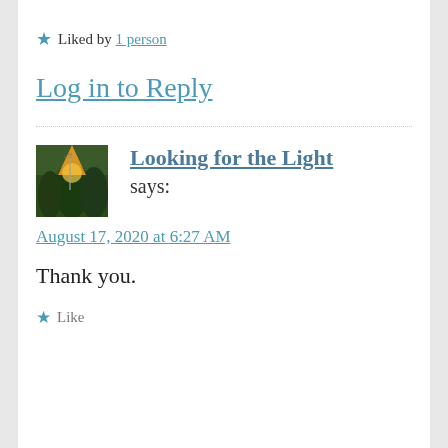★ Liked by 1 person
Log in to Reply
Looking for the Light says:
August 17, 2020 at 6:27 AM
Thank you.
★ Like